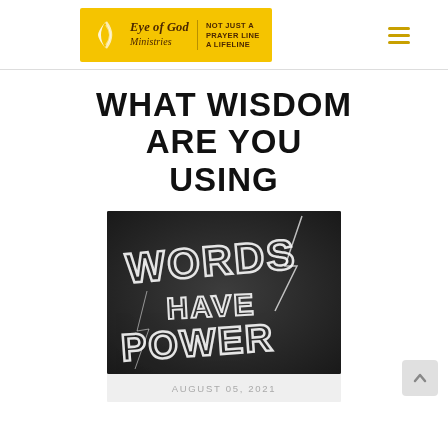Eye of God Ministries — NOT JUST A PRAYER LINE A LIFELINE
WHAT WISDOM ARE YOU USING
[Figure (photo): Black chalkboard with chalk-written text reading 'WORDS HAVE POWER' with lightning bolt imagery]
AUGUST 05, 2021